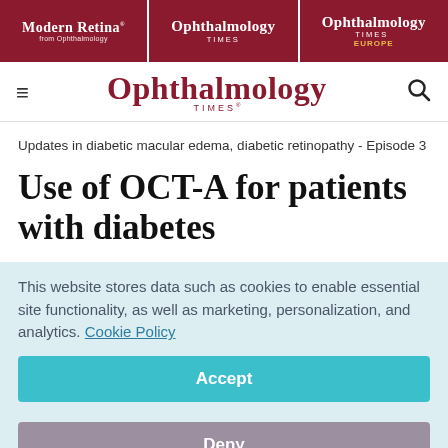[Figure (logo): Top navigation bar with three publication logos: Modern Retina from Ophthalmology, Ophthalmology Times, and Ophthalmology Times Europe — all on dark red/maroon background]
[Figure (logo): Ophthalmology Times main site header with hamburger menu icon, large serif Ophthalmology Times logo in maroon, and search icon]
Updates in diabetic macular edema, diabetic retinopathy - Episode 3
Use of OCT-A for patients with diabetes
This website stores data such as cookies to enable essential site functionality, as well as marketing, personalization, and analytics. Cookie Policy
Accept
Deny